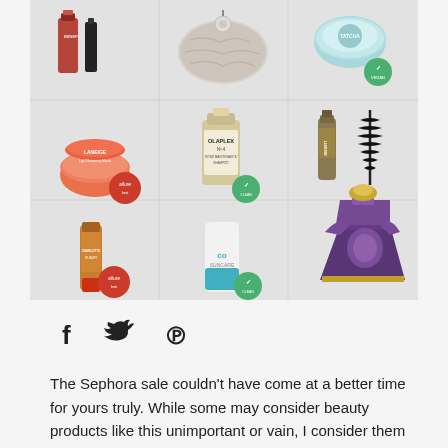[Figure (photo): A 3x3 grid of beauty products on a grey background: row 1 shows mascara/lip products (Benefit), a snakeskin makeup bag, and a teal Tatcha moisturizer jar with green vegan badge; row 2 shows a pink-orange Laneige lip sleeping mask jar with Allure Best of Beauty red badge, Olaplex No.4 shampoo bottle with green vegan badge, and Benefit mascara with brush; row 3 shows a bronze Charlotte Tilbury lip product tube with Allure red badge, a white Coola sunscreen stick with teal stripe and green vegan badge, and a purple Mugler Alien perfume bottle.]
[Figure (infographic): Social media share icons: Facebook (f), Twitter (bird), Pinterest (P) in black, horizontally arranged.]
The Sephora sale couldn't have come at a better time for yours truly. While some may consider beauty products like this unimportant or vain, I consider them mood lifters.